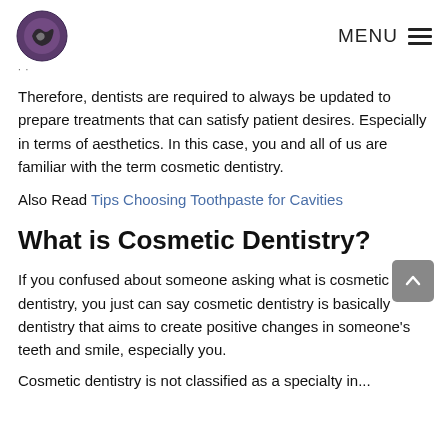MENU
· ·
Therefore, dentists are required to always be updated to prepare treatments that can satisfy patient desires. Especially in terms of aesthetics. In this case, you and all of us are familiar with the term cosmetic dentistry.
Also Read Tips Choosing Toothpaste for Cavities
What is Cosmetic Dentistry?
If you confused about someone asking what is cosmetic dentistry, you just can say cosmetic dentistry is basically dentistry that aims to create positive changes in someone's teeth and smile, especially you.
Cosmetic dentistry is not classified as a specialty in...